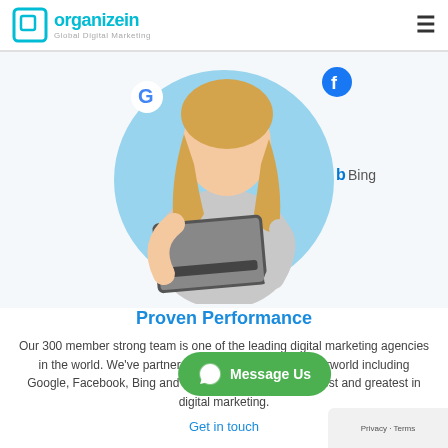Organizein | Global Digital Marketing
[Figure (illustration): Woman holding a laptop sitting in front of a light blue circle background, with Google, Facebook, and Bing logos surrounding her]
Proven Performance
Our 300 member strong team is one of the leading digital marketing agencies in the world. We've partnered with the best in the cyberworld including Google, Facebook, Bing and many more to bring the latest and greatest in digital marketing.
Get in touch
[Figure (illustration): Message Us button with WhatsApp icon in green]
Privacy · Terms